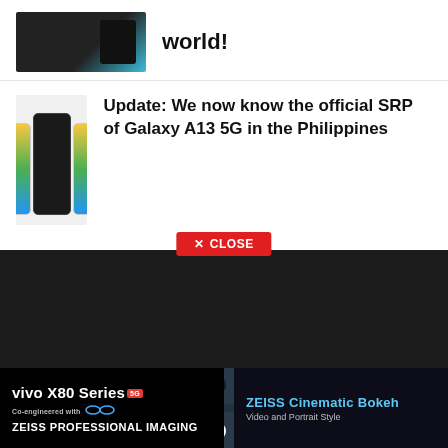[Figure (photo): Partial thumbnail of a Samsung phone with dark and teal background, top portion visible]
world!
[Figure (photo): Three Samsung Galaxy A13 5G phones shown from the front and back in yellow/green/blue gradient and black colorways]
Update: We now know the official SRP of Galaxy A13 5G in the Philippines
[Figure (photo): Advertisement: vivo X80 Series 5G with ZEISS Professional Imaging and ZEISS Cinematic Bokeh banner showing a photographer silhouette]
✕ CLOSE